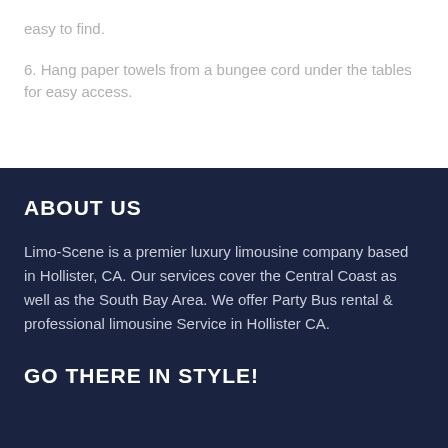easy to find.
6. Hang paper towels from a bungee cord under the tables for easy access.
ABOUT US
Limo-Scene is a premier luxury limousine company based in Hollister, CA. Our services cover the Central Coast as well as the South Bay Area. We offer Party Bus rental & professional limousine Service in Hollister CA.
GO THERE IN STYLE!